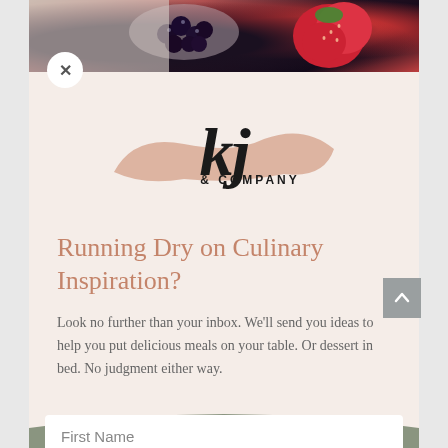[Figure (photo): Top photo strip showing fruits including blueberries and strawberries on a table]
[Figure (logo): KJ & Company logo with cursive 'kj' lettering on a brushstroke background]
Running Dry on Culinary Inspiration?
Look no further than your inbox. We'll send you ideas to help you put delicious meals on your table. Or dessert in bed. No judgment either way.
First Name